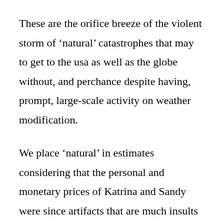These are the orifice breeze of the violent storm of ‘natural’ catastrophes that may to get to the usa as well as the globe without, and perchance despite having, prompt, large-scale activity on weather modification.
We place ‘natural’ in estimates considering that the personal and monetary prices of Katrina and Sandy were since artifacts that are much insults of nature. As an example, from 2005 to 2009, the Southern Ferry subway station... in a flood that is high risk of